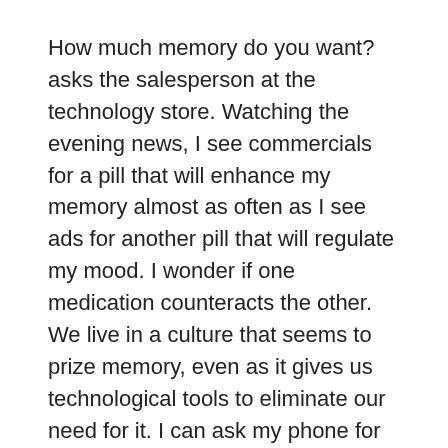How much memory do you want? asks the salesperson at the technology store. Watching the evening news, I see commercials for a pill that will enhance my memory almost as often as I see ads for another pill that will regulate my mood. I wonder if one medication counteracts the other. We live in a culture that seems to prize memory, even as it gives us technological tools to eliminate our need for it. I can ask my phone for most bits of information that I have trouble bringing to mind, and if I forget where I left my phone, my iPad can remind me.
Still, memory remains a subject of reflection and anxiety — not least because as people live longer, more of them are surviving